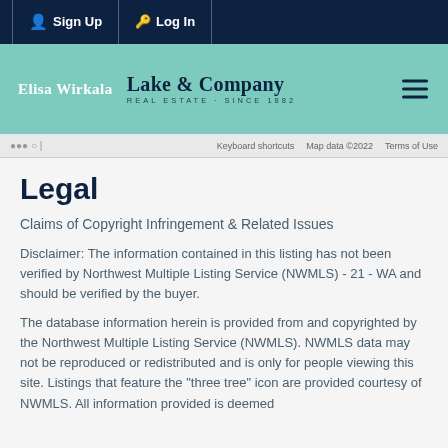Sign Up  Log In
[Figure (logo): Elisa Wirkala Lake & Company Real Estate Since 1882 branding on teal header bar with hamburger menu icon]
Keyboard shortcuts  Map data ©2022  Terms of Use
Legal
Claims of Copyright Infringement & Related Issues
Disclaimer: The information contained in this listing has not been verified by Northwest Multiple Listing Service (NWMLS) - 21 - WA and should be verified by the buyer.
The database information herein is provided from and copyrighted by the Northwest Multiple Listing Service (NWMLS). NWMLS data may not be reproduced or redistributed and is only for people viewing this site. Listings that feature the "three tree" icon are provided courtesy of NWMLS. All information provided is deemed